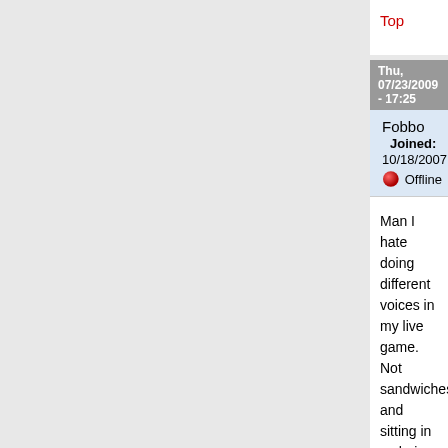Top
Thu, 07/23/2009 - 17:25
Fobbo   Joined: 10/18/2007
Offline
Man I hate doing different voices in my live game. Not sandwiches, and sitting in a chair for several hours.
Top
Thu, 07/23/2009 - 19:14
sithgod   Joined: 10/18/2007
Offline
As I do the reading program for work where I HAVE to as much as before. I embarrass myself more everyday
Top